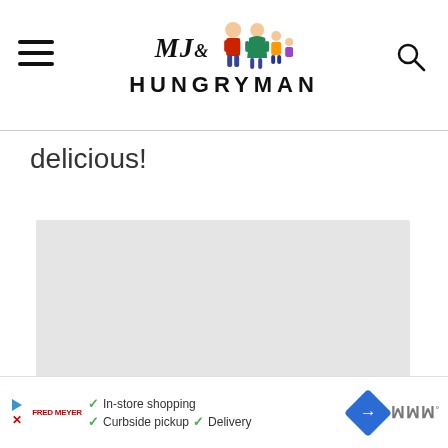MJ& HUNGRYMAN
delicious!
[Figure (photo): Large image placeholder (light gray rectangle) — image content not visible]
[Figure (infographic): Advertisement banner: In-store shopping, Curbside pickup, Delivery checkmarks with navigation/brand icons]